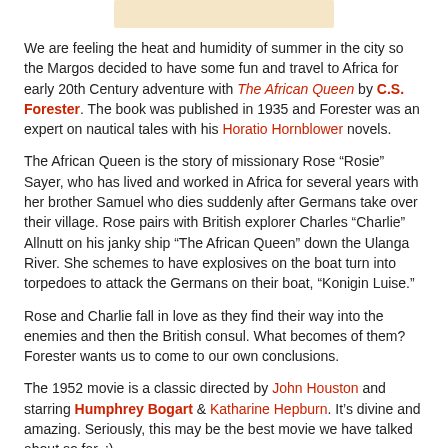[Figure (other): Tan/beige banner image at top center]
We are feeling the heat and humidity of summer in the city so the Margos decided to have some fun and travel to Africa for early 20th Century adventure with The African Queen by C.S. Forester. The book was published in 1935 and Forester was an expert on nautical tales with his Horatio Hornblower novels.
The African Queen is the story of missionary Rose “Rosie” Sayer, who has lived and worked in Africa for several years with her brother Samuel who dies suddenly after Germans take over their village. Rose pairs with British explorer Charles “Charlie” Allnutt on his janky ship “The African Queen” down the Ulanga River. She schemes to have explosives on the boat turn into torpedoes to attack the Germans on their boat, “Konigin Luise.”
Rose and Charlie fall in love as they find their way into the enemies and then the British consul. What becomes of them? Forester wants us to come to our own conclusions.
The 1952 movie is a classic directed by John Houston and starring Humphrey Bogart & Katharine Hepburn. It’s divine and amazing. Seriously, this may be the best movie we have talked about so far. :)
Between the novel and film--which did the Margos like better?
In this ep the Margos discuss: